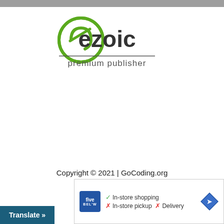[Figure (logo): Ezoic premium publisher logo with green circle icon and bold text]
Copyright © 2021 | GoCoding.org
[Figure (screenshot): Five Below store ad showing In-store shopping checkmark, In-store pickup X, Delivery X, with navigation arrow icon]
Translate »